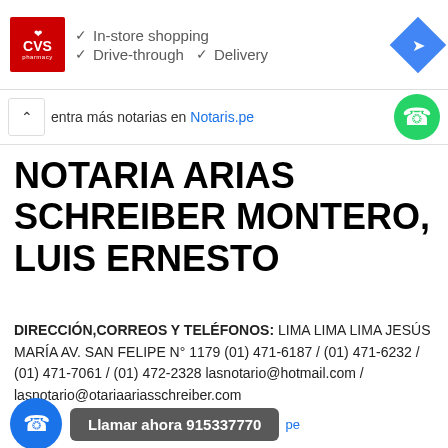[Figure (screenshot): CVS Pharmacy advertisement banner with logo, checkmarks for In-store shopping, Drive-through, Delivery, and a blue navigation diamond icon]
entra más notarias en Notaris.pe
NOTARIA ARIAS SCHREIBER MONTERO, LUIS ERNESTO
DIRECCIÓN,CORREOS Y TELÉFONOS: LIMA LIMA LIMA JESÚS MARÍA AV. SAN FELIPE N° 1179 (01) 471-6187 / (01) 471-6232 / (01) 471-7061 / (01) 472-2328 lasnotario@hotmail.com / lasnotario@otariaariasschreiber.com
Llamar ahora 915337770